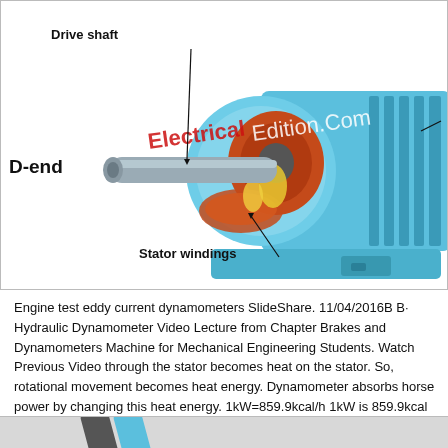[Figure (engineering-diagram): Cross-sectional cutaway illustration of an electric motor showing internal components. Labels point to: Drive shaft (front left shaft), D-end (drive end, left side), Stator windings (copper windings inside the stator). The motor has a blue casing with orange/red rotor windings and yellow coil ends visible. Watermark text 'ElectricalEdition.Com' overlaid in red/white.]
Engine test eddy current dynamometers SlideShare. 11/04/2016B B· Hydraulic Dynamometer Video Lecture from Chapter Brakes and Dynamometers Machine for Mechanical Engineering Students. Watch Previous Video through the stator becomes heat on the stator. So, rotational movement becomes heat energy. Dynamometer absorbs horse power by changing this heat energy. 1kW=859.9kcal/h 1kW is 859.9kcal of heat per hour The upper limit of water temperature is 60, cooling water.
[Figure (photo): Partial view of another engineering component or diagram, showing diagonal dark gray and blue elements against a light gray background. Only the top portion is visible at the bottom of the page.]